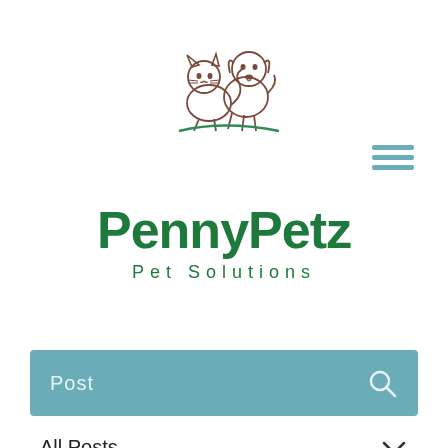[Figure (logo): Line drawing illustration of a cat and dog together, with a green curved line beneath them representing grass]
[Figure (other): Hamburger menu icon consisting of three horizontal teal/blue-gray lines]
PennyPetz
Pet Solutions
Post
All Posts